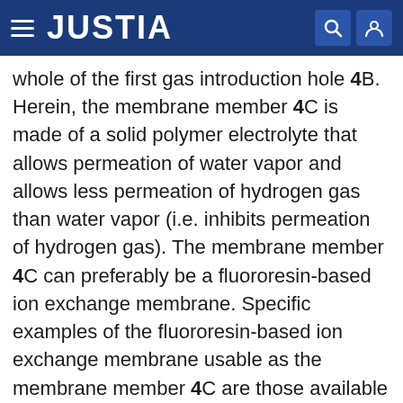JUSTIA
whole of the first gas introduction hole 4B. Herein, the membrane member 4C is made of a solid polymer electrolyte that allows permeation of water vapor and allows less permeation of hydrogen gas than water vapor (i.e. inhibits permeation of hydrogen gas). The membrane member 4C can preferably be a fluororesin-based ion exchange membrane. Specific examples of the fluororesin-based ion exchange membrane usable as the membrane member 4C are those available under the trade names of Nafion, Flemion, Aciplex and the like. Alternatively, the membrane member 4C may be a hollow fiber membrane capable of separating the measurement target gas and water vapor from each other.
Accordingly, the flow of the measurement target gas into the first inner space 4A is prevented by the